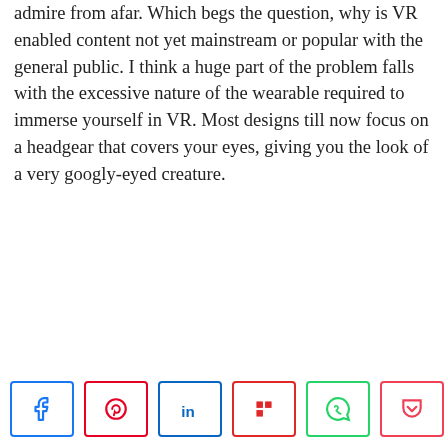admire from afar. Which begs the question, why is VR enabled content not yet mainstream or popular with the general public. I think a huge part of the problem falls with the excessive nature of the wearable required to immerse yourself in VR. Most designs till now focus on a headgear that covers your eyes, giving you the look of a very googly-eyed creature.
[Figure (infographic): Social share bar with Facebook, Pinterest, LinkedIn, Flipboard, WhatsApp, and Pocket buttons, and a share count of 163 SHARES]